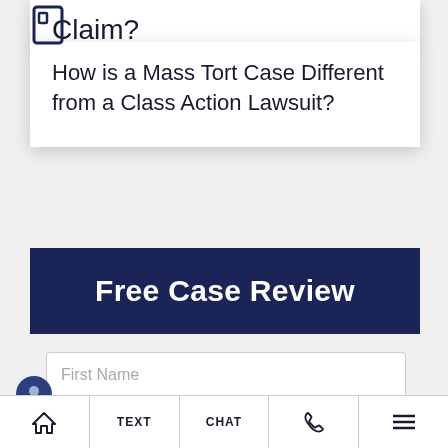Claim?
How is a Mass Tort Case Different from a Class Action Lawsuit?
Free Case Review
First Name
LIVE CHAT  START NOW
TEXT  CHAT